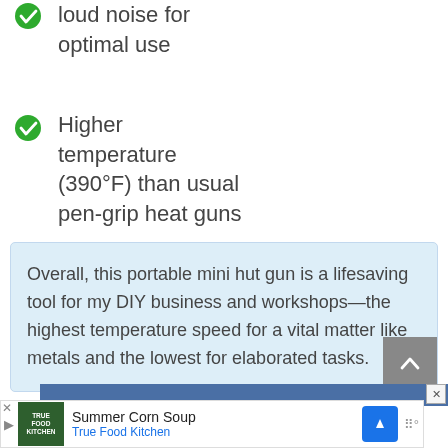Less disturbing loud noise for optimal use
Higher temperature (390°F) than usual pen-grip heat guns
Overall, this portable mini hut gun is a lifesaving tool for my DIY business and workshops—the highest temperature speed for a vital matter like metals and the lowest for elaborated tasks.